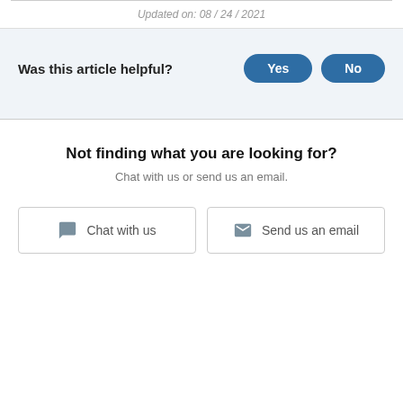Updated on: 08 / 24 / 2021
Was this article helpful?
Not finding what you are looking for?
Chat with us or send us an email.
Chat with us
Send us an email